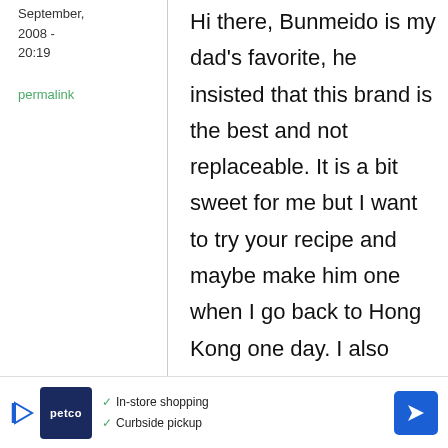September, 2008 - 20:19
permalink
Hi there, Bunmeido is my dad's favorite, he insisted that this brand is the best and not replaceable. It is a bit sweet for me but I want to try your recipe and maybe make him one when I go back to Hong Kong one day. I also found a recipe
[Figure (infographic): Petco advertisement banner with logo, play button, checkmarks for 'In-store shopping' and 'Curbside pickup', and a navigation arrow icon]